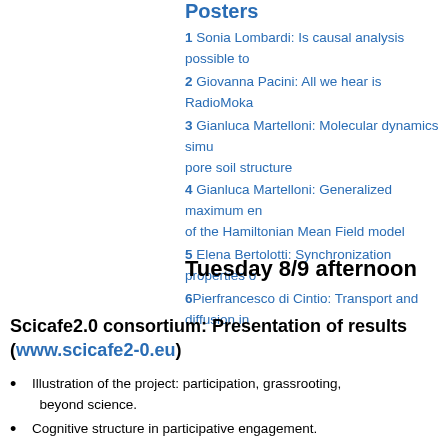Posters
1 Sonia Lombardi: Is causal analysis possible to
2 Giovanna Pacini: All we hear is RadioMoka
3 Gianluca Martelloni: Molecular dynamics simu… pore soil structure
4 Gianluca Martelloni: Generalized maximum en… of the Hamiltonian Mean Field model
5 Elena Bertolotti: Synchronization properties o…
6 Pierfrancesco di Cintio: Transport and diffusion in…
Tuesday 8/9 afternoon
Scicafe2.0 consortium: Presentation of results (www.scicafe2-0.eu)
Illustration of the project: participation, grassrooting, … beyond science.
Cognitive structure in participative engagement.
Collective awareness Platforms: an investigation
Road Map to inform coordination of research activitie…
Lessons from the Dissemination and Exploitation Wo…